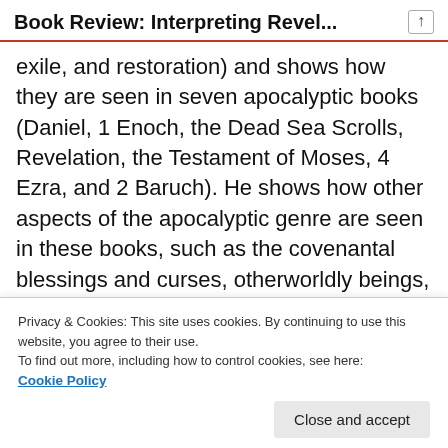Book Review: Interpreting Revel...
exile, and restoration) and shows how they are seen in seven apocalyptic books (Daniel, 1 Enoch, the Dead Sea Scrolls, Revelation, the Testament of Moses, 4 Ezra, and 2 Baruch). He shows how other aspects of the apocalyptic genre are seen in these books, such as the covenantal blessings and curses, otherworldly beings, journeys, and mediators, and more. (Pate also mentioned that, in an
Privacy & Cookies: This site uses cookies. By continuing to use this website, you agree to their use.
To find out more, including how to control cookies, see here:
Cookie Policy
Close and accept